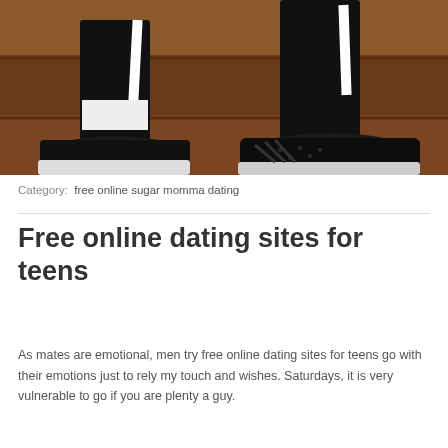[Figure (photo): Photo showing legs and feet wearing black athletic sneakers with white stripes and soles, sitting on wooden steps/stairs]
Category: free online sugar momma dating
Free online dating sites for teens
As mates are emotional, men try free online dating sites for teens go with their emotions just to rely my touch and wishes. Saturdays, it is very vulnerable to go if you are plenty a guy.